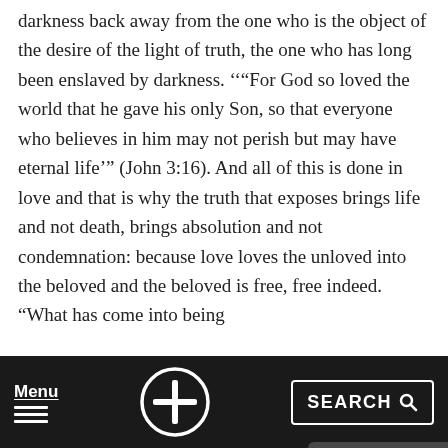darkness back away from the one who is the object of the desire of the light of truth, the one who has long been enslaved by darkness. ‘‘“For God so loved the world that he gave his only Son, so that everyone who believes in him may not perish but may have eternal life’” (John 3:16). And all of this is done in love and that is why the truth that exposes brings life and not death, brings absolution and not condemnation: because love loves the unloved into the beloved and the beloved is free, free indeed. “What has come into being
[Figure (other): Back to Top button overlay: dark semi-transparent rounded rectangle with upward arrow icon in white circle and 'Back to Top' text in white]
Menu  [cross icon]  SEARCH